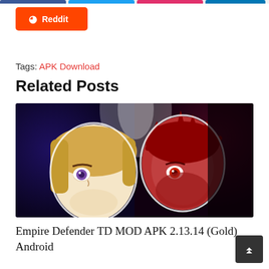[Figure (other): Orange Reddit share button with Reddit alien icon]
Tags: APK Download
Related Posts
[Figure (illustration): Empire Defender TD game cover art showing two cartoon characters facing each other — a blonde female and a red-haired male — on a dark stylized background]
Empire Defender TD MOD APK 2.13.14 (Gold) Android